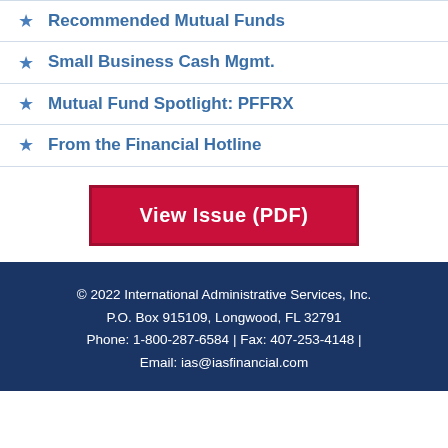Recommended Mutual Funds
Small Business Cash Mgmt.
Mutual Fund Spotlight: PFFRX
From the Financial Hotline
View Issue (PDF)
© 2022 International Administrative Services, Inc. P.O. Box 915109, Longwood, FL 32791 Phone: 1-800-287-6584 | Fax: 407-253-4148 | Email: ias@iasfinancial.com